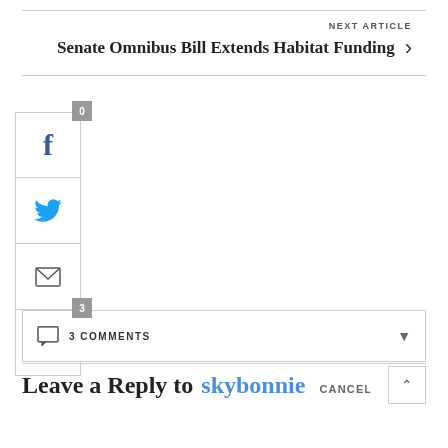NEXT ARTICLE
Senate Omnibus Bill Extends Habitat Funding
[Figure (other): Social share sidebar with Facebook (0), Twitter, Email, and Comment (3) buttons]
3 COMMENTS
Leave a Reply to skybonnie CANCEL